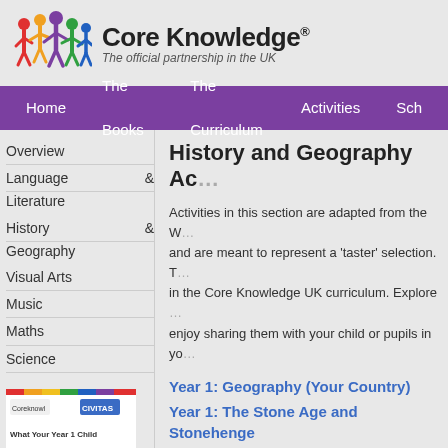[Figure (logo): Core Knowledge UK logo with colorful figures holding hands and text 'Core Knowledge® The official partnership in the UK']
Home | The Books | The Curriculum | Activities | Sch...
Overview
Language & Literature
History & Geography
Visual Arts
Music
Maths
Science
History and Geography Ac...
Activities in this section are adapted from the W... and are meant to represent a 'taster' selection. T... in the Core Knowledge UK curriculum. Explore ... enjoy sharing them with your child or pupils in yo...
Year 1: Geography (Your Country)
Year 1: The Stone Age and Stonehenge
Year 1: Kings and Queens
Year 1: The Queen's Diamond Jubilee